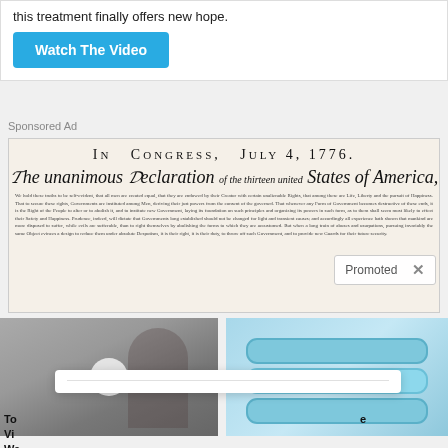this treatment finally offers new hope.
Watch The Video
Sponsored Ad
[Figure (photo): Image of the Declaration of Independence document showing 'In Congress, July 4, 1776. The unanimous Declaration of the thirteen united States of America' with handwritten text body.]
Promoted
[Figure (photo): Photo of a woman (Kamala Harris) smiling outdoors near industrial buildings, with a video play button overlay.]
[Figure (photo): Photo of light blue stacked ring-shaped pet collar or bracelet accessories on a light background.]
To Vi Wa Ba
e